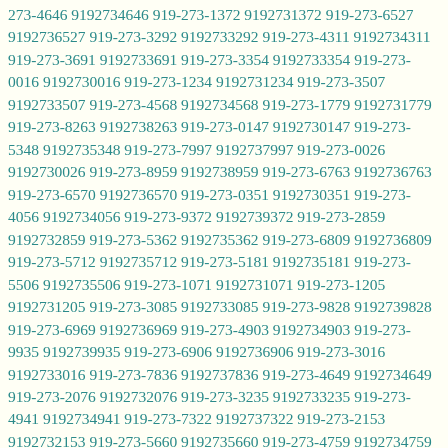273-4646 9192734646 919-273-1372 9192731372 919-273-6527 9192736527 919-273-3292 9192733292 919-273-4311 9192734311 919-273-3691 9192733691 919-273-3354 9192733354 919-273-0016 9192730016 919-273-1234 9192731234 919-273-3507 9192733507 919-273-4568 9192734568 919-273-1779 9192731779 919-273-8263 9192738263 919-273-0147 9192730147 919-273-5348 9192735348 919-273-7997 9192737997 919-273-0026 9192730026 919-273-8959 9192738959 919-273-6763 9192736763 919-273-6570 9192736570 919-273-0351 9192730351 919-273-4056 9192734056 919-273-9372 9192739372 919-273-2859 9192732859 919-273-5362 9192735362 919-273-6809 9192736809 919-273-5712 9192735712 919-273-5181 9192735181 919-273-5506 9192735506 919-273-1071 9192731071 919-273-1205 9192731205 919-273-3085 9192733085 919-273-9828 9192739828 919-273-6969 9192736969 919-273-4903 9192734903 919-273-9935 9192739935 919-273-6906 9192736906 919-273-3016 9192733016 919-273-7836 9192737836 919-273-4649 9192734649 919-273-2076 9192732076 919-273-3235 9192733235 919-273-4941 9192734941 919-273-7322 9192737322 919-273-2153 9192732153 919-273-5660 9192735660 919-273-4759 9192734759 919-273-7275 9192737275 919-273-4716 9192734716 919-273-3708 9192733708 919-273-0042 9192730042 919-273-3478 9192733478 919-273-5267 9192735267 919-273-7223 9192737223 919-273-3948 9192733948 919-273-6589 9192736589 919-273-3572 9192733572 919-273-1856 9192731856 919-273-0992 9192730992 919-273-1360 9192731360 919-273-7627 9192737627 919-273-9054 9192739054 919-273-5577 9192735577 919-273-8067 9192738067 919-273-0273 9192730273 919-